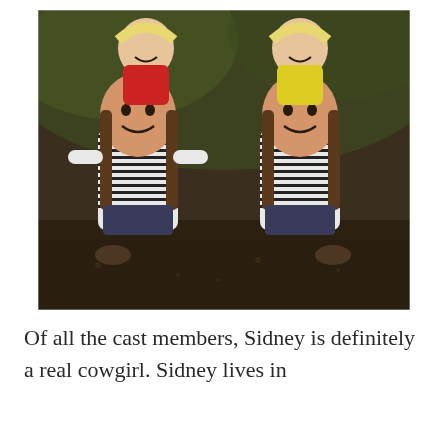[Figure (photo): A vintage photograph of four children outdoors. Two girls in the foreground are wearing matching black and white striped long-sleeve shirts with dark overalls and braided pigtails, leaning forward on the ground. Two younger children (one in red, one in yellow) are resting their chins on the older girls' heads/backs, smiling at the camera.]
Of all the cast members, Sidney is definitely a real cowgirl. Sidney lives in